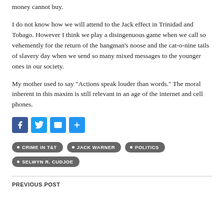money cannot buy.
I do not know how we will attend to the Jack effect in Trinidad and Tobago. However I think we play a disingenuous game when we call so vehemently for the return of the hangman’s noose and the cat-o-nine tails of slavery day when we send so many mixed messages to the younger ones in our society.
My mother used to say “Actions speak louder than words.” The moral inherent in this maxim is still relevant in an age of the internet and cell phones.
[Figure (infographic): Social sharing icons: Facebook (blue), Twitter (blue), Email (blue), Share (blue plus sign)]
CRIME IN T&T
JACK WARNER
POLITICS
SELWYN R. CUDJOE
PREVIOUS POST